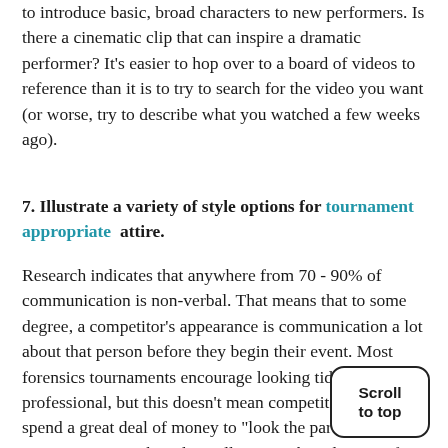to introduce basic, broad characters to new performers. Is there a cinematic clip that can inspire a dramatic performer? It's easier to hop over to a board of videos to reference than it is to try to search for the video you want (or worse, try to describe what you watched a few weeks ago).
7. Illustrate a variety of style options for tournament appropriate attire.
Research indicates that anywhere from 70 - 90% of communication is non-verbal. That means that to some degree, a competitor's appearance is communication a lot about that person before they begin their event. Most forensics tournaments encourage looking tidy and professional, but this doesn't mean competitors must spend a great deal of money to "look the part." A tournament attire board can illustrate a broad range of what is considered tournament appropriate attire. Pins on
Scroll to top